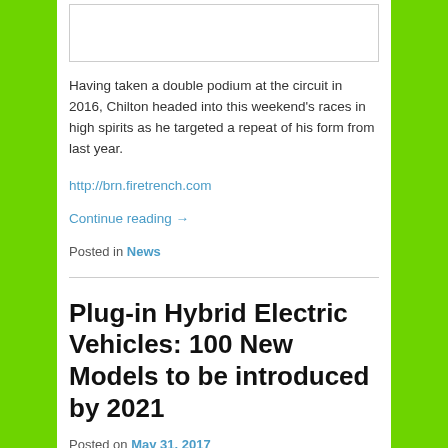[Figure (photo): Image placeholder box at top of article]
Having taken a double podium at the circuit in 2016, Chilton headed into this weekend's races in high spirits as he targeted a repeat of his form from last year.
http://brn.firetrench.com
Continue reading →
Posted in News
Plug-in Hybrid Electric Vehicles: 100 New Models to be introduced by 2021
Posted on May 31, 2017